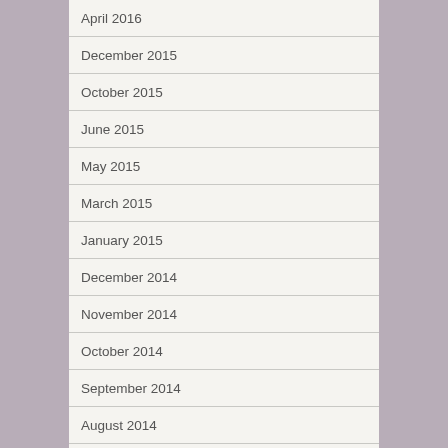April 2016
December 2015
October 2015
June 2015
May 2015
March 2015
January 2015
December 2014
November 2014
October 2014
September 2014
August 2014
July 2014